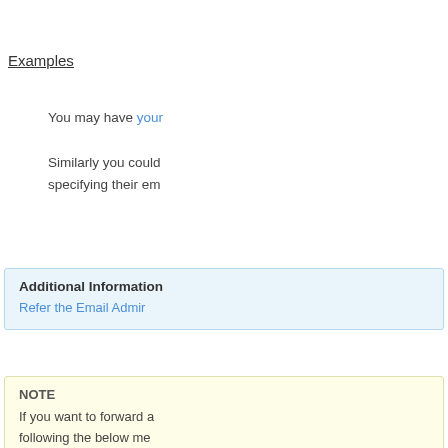Examples
You may have your
Similarly you could
specifying their em
Additional Information
Refer the Email Admir
NOTE
If you want to forward a
following the below me
Adding a Catch-All A